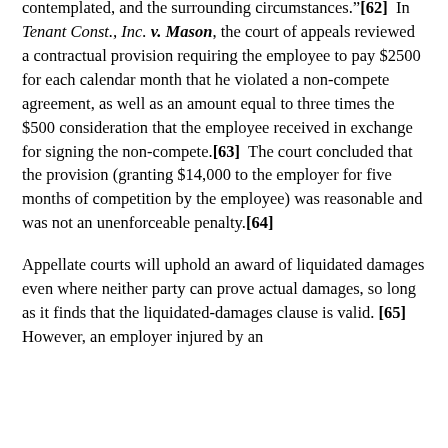contemplated, and the surrounding circumstances."[62]  In Tenant Const., Inc. v. Mason, the court of appeals reviewed a contractual provision requiring the employee to pay $2500 for each calendar month that he violated a non-compete agreement, as well as an amount equal to three times the $500 consideration that the employee received in exchange for signing the non-compete.[63]  The court concluded that the provision (granting $14,000 to the employer for five months of competition by the employee) was reasonable and was not an unenforceable penalty.[64]
Appellate courts will uphold an award of liquidated damages even where neither party can prove actual damages, so long as it finds that the liquidated-damages clause is valid.[65]  However, an employer injured by an